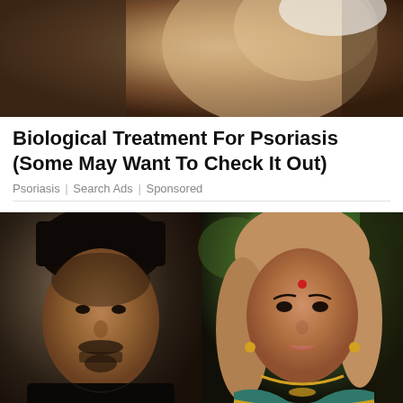[Figure (photo): Top image showing a person's back/shoulder area, warm toned, partial body shot]
Biological Treatment For Psoriasis (Some May Want To Check It Out)
Psoriasis | Search Ads | Sponsored
[Figure (photo): Two-panel image: left panel shows a young man with dark hair and beard wearing a black shirt; right panel shows a woman in a green and gold saree with long wavy light-brown hair, gold jewelry, and a bindi]